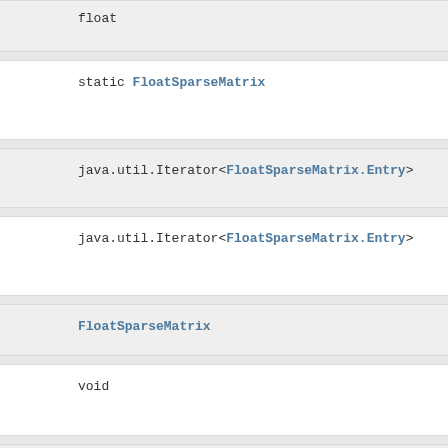float
static FloatSparseMatrix
java.util.Iterator<FloatSparseMatrix.Entry>
java.util.Iterator<FloatSparseMatrix.Entry>
FloatSparseMatrix
void
void